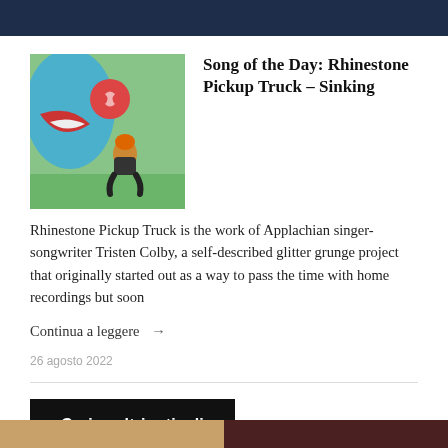Song of the Day: Rhinestone Pickup Truck – Sinking
[Figure (photo): Person crouching against a colorful painted wall mural outdoors]
Rhinestone Pickup Truck is the work of Applachian singer-songwriter Tristen Colby, a self-described glitter grunge project that originally started out as a way to pass the time with home recordings but soon
Continua a leggere →
26 agosto 2022
Carica altri articoli